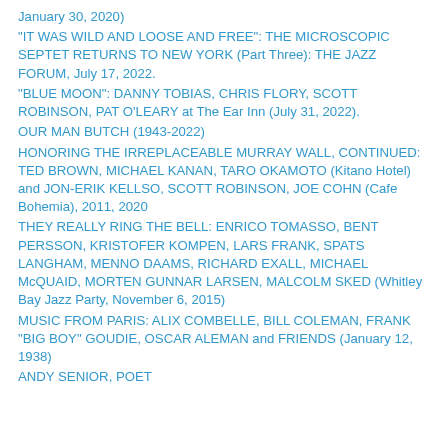January 30, 2020)
“IT WAS WILD AND LOOSE AND FREE”: THE MICROSCOPIC SEPTET RETURNS TO NEW YORK (Part Three): THE JAZZ FORUM, July 17, 2022.
“BLUE MOON”: DANNY TOBIAS, CHRIS FLORY, SCOTT ROBINSON, PAT O’LEARY at The Ear Inn (July 31, 2022).
OUR MAN BUTCH (1943-2022)
HONORING THE IRREPLACEABLE MURRAY WALL, CONTINUED: TED BROWN, MICHAEL KANAN, TARO OKAMOTO (Kitano Hotel) and JON-ERIK KELLSO, SCOTT ROBINSON, JOE COHN (Cafe Bohemia), 2011, 2020
THEY REALLY RING THE BELL: ENRICO TOMASSO, BENT PERSSON, KRISTOFER KOMPEN, LARS FRANK, SPATS LANGHAM, MENNO DAAMS, RICHARD EXALL, MICHAEL McQUAID, MORTEN GUNNAR LARSEN, MALCOLM SKED (Whitley Bay Jazz Party, November 6, 2015)
MUSIC FROM PARIS: ALIX COMBELLE, BILL COLEMAN, FRANK “BIG BOY” GOUDIE, OSCAR ALEMAN and FRIENDS (January 12, 1938)
ANDY SENIOR, POET